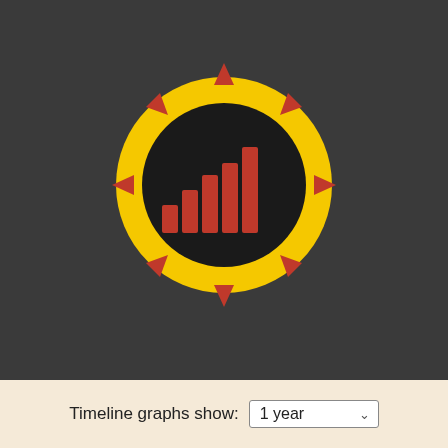[Figure (logo): Coronavirus / COVID-19 icon styled as a logo: a large black circle in the center containing a rising red bar chart (5 bars of increasing height), surrounded by a thick yellow ring, with 8 red triangular spike arrows pointing outward around the ring at regular intervals, all on a dark gray background.]
Timeline graphs show: 1 year